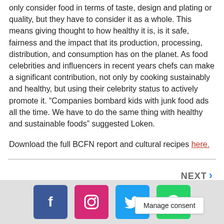only consider food in terms of taste, design and plating or quality, but they have to consider it as a whole. This means giving thought to how healthy it is, is it safe, fairness and the impact that its production, processing, distribution, and consumption has on the planet. As food celebrities and influencers in recent years chefs can make a significant contribution, not only by cooking sustainably and healthy, but using their celebrity status to actively promote it. “Companies bombard kids with junk food ads all the time. We have to do the same thing with healthy and sustainable foods” suggested Loken.
Download the full BCFN report and cultural recipes here.
[Figure (other): Social media share icons: Facebook, Instagram, Twitter, WhatsApp]
Manage consent